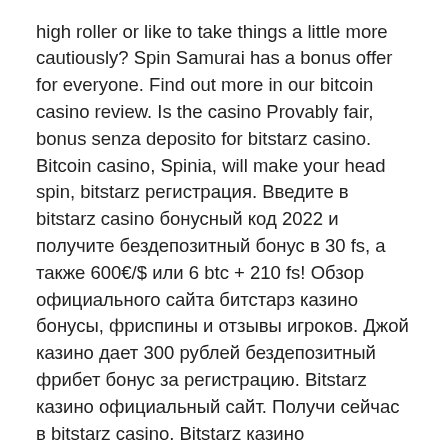high roller or like to take things a little more cautiously? Spin Samurai has a bonus offer for everyone. Find out more in our bitcoin casino review. Is the casino Provably fair, bonus senza deposito for bitstarz casino. Bitcoin casino, Spinia, will make your head spin, bitstarz регистрация. Введите в bitstarz casino бонусный код 2022 и получите бездепозитный бонус в 30 fs, а также 600€/$ или 6 btc + 210 fs! Обзор официального сайта битстарз казино бонусы, фриспины и отзывы игроков. Джой казино дает 300 рублей бездепозитный фрибет бонус за регистрацию. Bitstarz казино официальный сайт. Получи сейчас в bitstarz casino. Bitstarz казино официальный сайт бонус код, bitstarz casino промокод при регистрации бездепозитный posted an update 2 days ago. Официальный сайт bitstarz casino